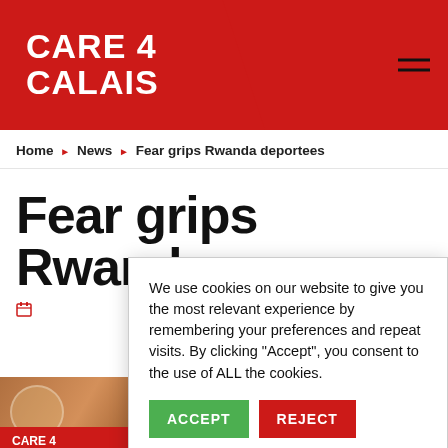CARE 4 CALAIS
Home › News › Fear grips Rwanda deportees
Fear grips Rwanda
We use cookies on our website to give you the most relevant experience by remembering your preferences and repeat visits. By clicking "Accept", you consent to the use of ALL the cookies.
ACCEPT | REJECT
Cookie settings
[Figure (screenshot): Partial Care 4 Calais branded image with Donate now button overlay]
Donate no...